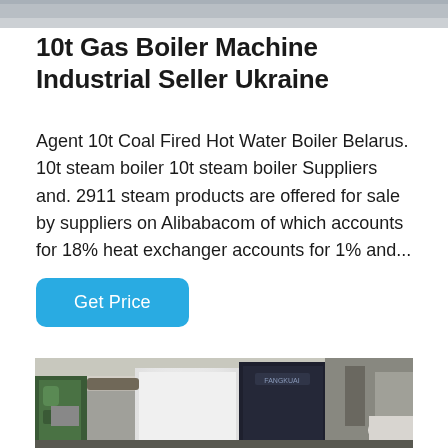[Figure (photo): Top portion of an industrial boiler facility photo, cropped — grey/light tones visible at top of page.]
10t Gas Boiler Machine Industrial Seller Ukraine
Agent 10t Coal Fired Hot Water Boiler Belarus. 10t steam boiler 10t steam boiler Suppliers and. 2911 steam products are offered for sale by suppliers on Alibabacom of which accounts for 18% heat exchanger accounts for 1% and...
Get Price
[Figure (photo): Industrial boiler machine in a factory/warehouse setting. Shows white and black boiler equipment with green pipes on the left, large industrial space with ceiling beams visible in background.]